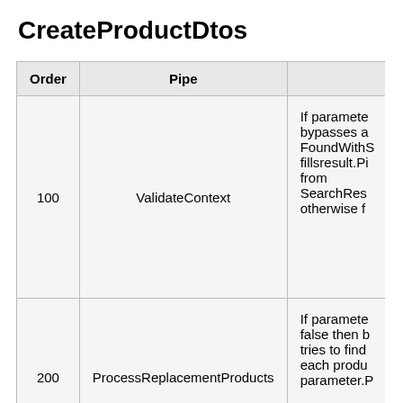CreateProductDtos
| Order | Pipe |  |
| --- | --- | --- |
| 100 | ValidateContext | If paramete bypasses a FoundWithS fillsresult.Pi from SearchRes otherwise f |
| 200 | ProcessReplacementProducts | If paramete false then b tries to find each produ parameter.P |
|  |  | If paramete true or para EnforceRes |